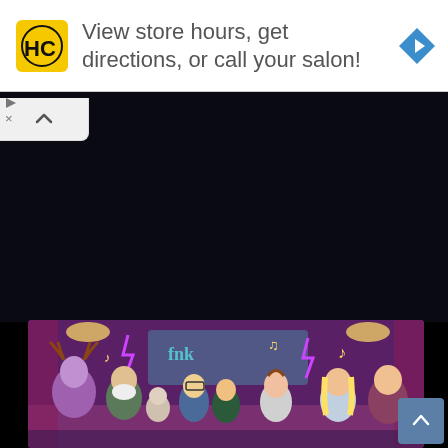[Figure (screenshot): Advertisement banner: HC (Hair Club) logo in yellow square, text 'View store hours, get directions, or call your salon!' with blue navigation diamond icon on right]
[Figure (screenshot): Black content area with collapsed panel chevron button at top left]
[Figure (illustration): Colorful cartoon illustration showing animated characters at a party/celebration scene with music notes, lightning bolts, and spotlights. Characters include various cartoon figures in festive poses against a purple/graffiti background.]